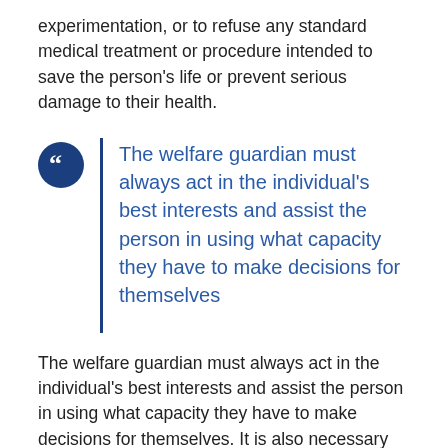experimentation, or to refuse any standard medical treatment or procedure intended to save the person's life or prevent serious damage to their health.
The welfare guardian must always act in the individual's best interests and assist the person in using what capacity they have to make decisions for themselves
The welfare guardian must always act in the individual's best interests and assist the person in using what capacity they have to make decisions for themselves. It is also necessary that the welfare guardian consults (so far as practicable) with others who are interested in the welfare of the individual,